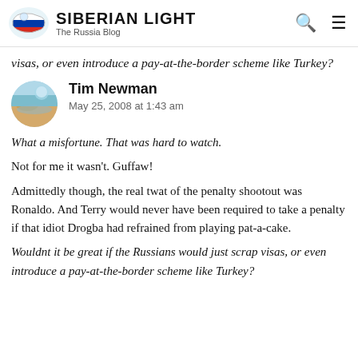SIBERIAN LIGHT – The Russia Blog
visas, or even introduce a pay-at-the-border scheme like Turkey?
Tim Newman
May 25, 2008 at 1:43 am
What a misfortune. That was hard to watch.
Not for me it wasn't. Guffaw!
Admittedly though, the real twat of the penalty shootout was Ronaldo. And Terry would never have been required to take a penalty if that idiot Drogba had refrained from playing pat-a-cake.
Wouldnt it be great if the Russians would just scrap visas, or even introduce a pay-at-the-border scheme like Turkey?